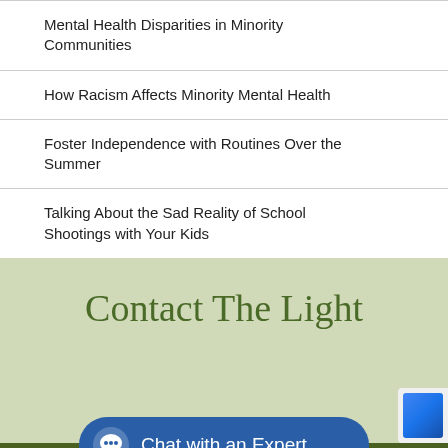Mental Health Disparities in Minority Communities
How Racism Affects Minority Mental Health
Foster Independence with Routines Over the Summer
Talking About the Sad Reality of School Shootings with Your Kids
Contact The Light
Chat with an Expert